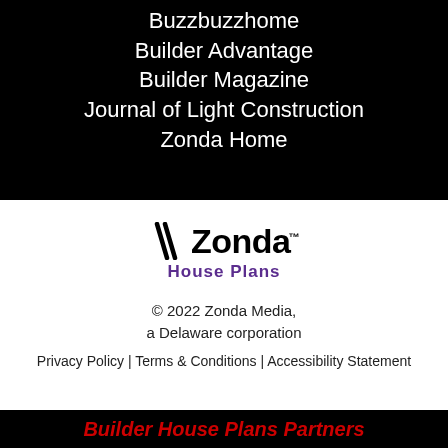Buzzbuzzhome
Builder Advantage
Builder Magazine
Journal of Light Construction
Zonda Home
[Figure (logo): Zonda House Plans logo with diagonal slash mark, bold Zonda text, and purple House Plans subtitle]
© 2022 Zonda Media, a Delaware corporation
Privacy Policy | Terms & Conditions | Accessibility Statement
Builder House Plans Partners